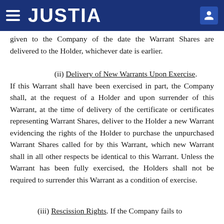JUSTIA
given to the Company of the date the Warrant Shares are delivered to the Holder, whichever date is earlier.
(ii) Delivery of New Warrants Upon Exercise. If this Warrant shall have been exercised in part, the Company shall, at the request of a Holder and upon surrender of this Warrant, at the time of delivery of the certificate or certificates representing Warrant Shares, deliver to the Holder a new Warrant evidencing the rights of the Holder to purchase the unpurchased Warrant Shares called for by this Warrant, which new Warrant shall in all other respects be identical to this Warrant. Unless the Warrant has been fully exercised, the Holders shall not be required to surrender this Warrant as a condition of exercise.
(iii) Rescission Rights. If the Company fails to